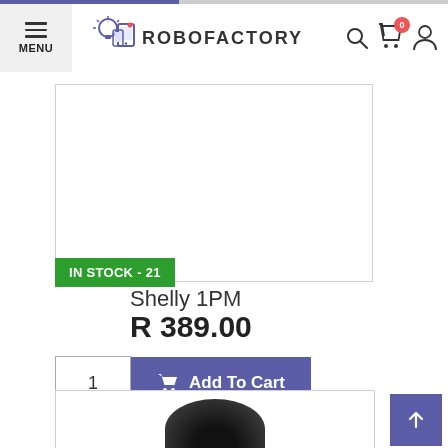[Figure (logo): Robofactory logo with lightbulb and mobile device icons in purple/blue, bold text ROBOFACTORY]
MENU | ROBOFACTORY
[Figure (photo): Product image placeholder box for Shelly 1PM]
IN STOCK - 21
Shelly 1PM
R 389.00
1  Add To Cart
[Figure (photo): Bottom product photo showing dark rounded device top portion of Shelly 1PM]